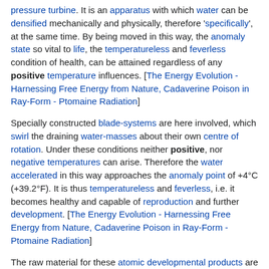pressure turbine. It is an apparatus with which water can be densified mechanically and physically, therefore 'specifically', at the same time. By being moved in this way, the anomaly state so vital to life, the temperatureless and feverless condition of health, can be attained regardless of any positive temperature influences. [The Energy Evolution - Harnessing Free Energy from Nature, Cadaverine Poison in Ray-Form - Ptomaine Radiation]
Specially constructed blade-systems are here involved, which swirl the draining water-masses about their own centre of rotation. Under these conditions neither positive, nor negative temperatures can arise. Therefore the water accelerated in this way approaches the anomaly point of +4°C (+39.2°F). It is thus temperatureless and feverless, i.e. it becomes healthy and capable of reproduction and further development. [The Energy Evolution - Harnessing Free Energy from Nature, Cadaverine Poison in Ray-Form - Ptomaine Radiation]
The raw material for these atomic developmental products are the earthly remains of former life. Above all, it is the concentrates of fatty-matter which, regardless of any external positive temperature influences, solidify after death. These are subjected to fermentation processes similar to those taking place in the stocks of fatty-matter in baetrinios from which chondria draw the trans-formation and